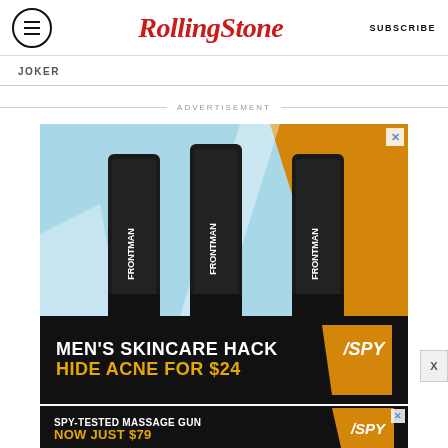RollingStone — SUBSCRIBE
JOKER
ADVERTISEMENT
[Figure (photo): Advertisement for Frontman skincare product showing three black tubes with 'FRONTMAN' branding on a light blue and gold geometric background. Bottom section has black background with white text 'MEN'S SKINCARE HACK' and gold text 'HIDE ACNE FOR $24' with SPY logo.]
[Figure (photo): Advertisement banner with black and gold background: white text 'SPY-TESTED MASSAGE GUN' and gold text 'NOW JUST $79' with SPY logo.]